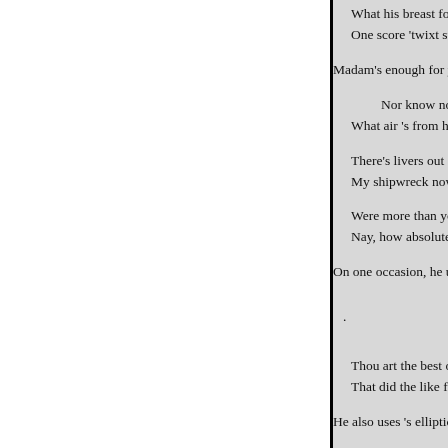What his breast forges, that his tongue must vent,
One score 'twixt sun and su
Madam's enough for you, and to
Nor know no
What air 's from home.-Ibid
There's livers out of Britain
My shipwreck now's no ill.-
Were more than you expect
Nay, how absolute she's in '
On one occasion, he uses 's to ex
.
Thou art the best o' the cut-
That did the like for Fleanc
He also uses 's elliptically, for 'w
Where liest o' nights, Timon?-
Thou speak'st like him 'untu